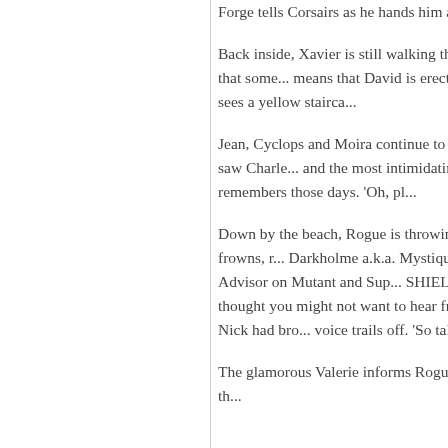Forge tells Corsairs as he hands him a... Hank and Forge laugh.
Back inside, Xavier is still walking through... thinks it is odd when he sees that some... means that David is erecting barriers, bu... gap in the wall and sees a yellow stairca...
Jean, Cyclops and Moira continue to wa... remembers the first time she saw Charle... and the most intimidating'. Jean looks a... him if he remembers those days. 'Oh, pl...
Down by the beach, Rogue is throwing s... a voice calls out to her. Rogue frowns, r... Darkholme a.k.a. Mystique. Rogue turns... Presidential Advisor on Mutant and Sup... SHIELD. 'What's the matter, Mystique. C... thought you might not want to hear from... communicating. 'And since Nick had bro... voice trails off. 'So talk. It's a free countr...
The glamorous Valerie informs Rogue th... the Charles King to get with th...